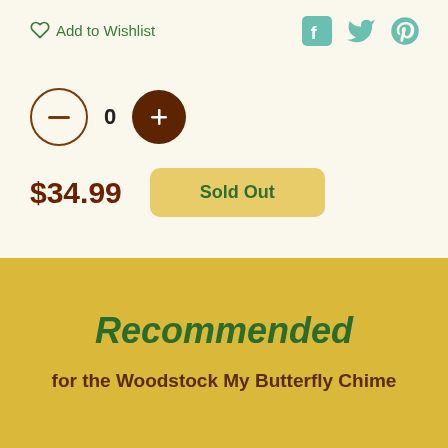♡ Add to Wishlist
[Figure (illustration): Social media icons: Facebook (f), Twitter (bird), Pinterest (p) in teal/mint color]
[Figure (illustration): Quantity selector with minus button (outline circle), 0, plus button (filled dark circle)]
$34.99
Sold Out
Recommended
for the Woodstock My Butterfly Chime